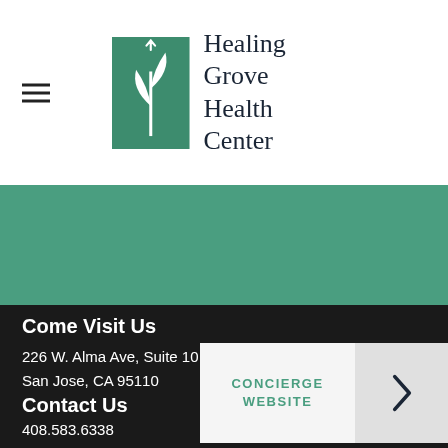[Figure (logo): Healing Grove Health Center logo with green plant/leaf icon on dark green square background and serif text]
Healing Grove Health Center
Come Visit Us
226 W. Alma Ave, Suite 10
San Jose, CA 95110
Contact Us
408.583.6338
brett@healinggrove.org
CONCIERGE WEBSITE